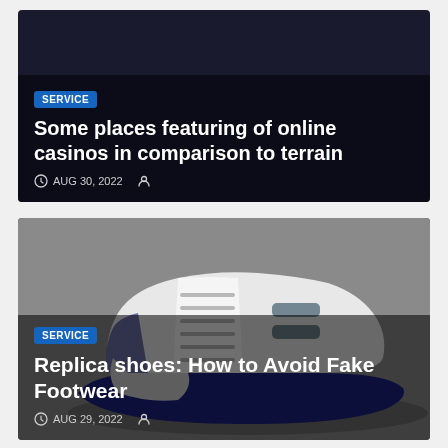[Figure (other): Dark navy article card with text overlay showing a blog post about online casinos]
SERVICE
Some places featuring of online casinos in comparison to terrain
AUG 30, 2022
[Figure (photo): White and navy blue Jordan 11 sneaker on grey surface, with text overlay for article about replica shoes]
SERVICE
Replica shoes: How to Avoid Fake Footwear
AUG 29, 2022